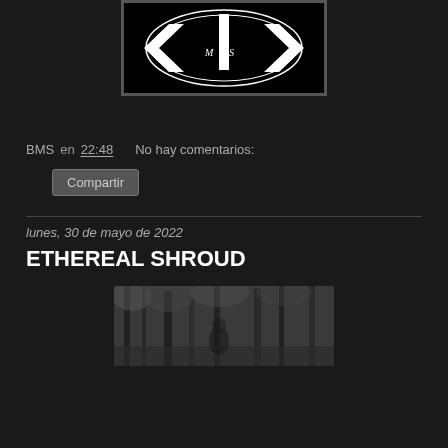[Figure (logo): Black square logo with circular design, letter M and S visible, white geometric arrow/chevron shapes on black background]
BMS en 22:48    No hay comentarios:
Compartir
lunes, 30 de mayo de 2022
ETHEREAL SHROUD
[Figure (photo): Black and white photo showing trees and a person, outdoor scene]